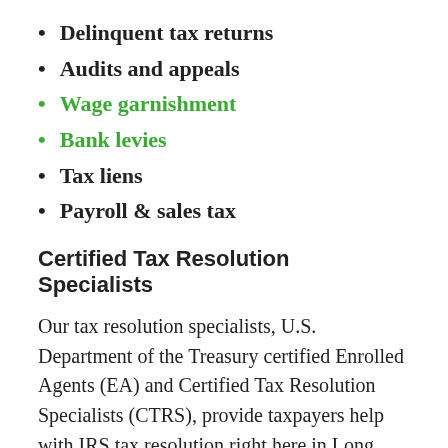Delinquent tax returns
Audits and appeals
Wage garnishment
Bank levies
Tax liens
Payroll & sales tax
Certified Tax Resolution Specialists
Our tax resolution specialists, U.S. Department of the Treasury certified Enrolled Agents (EA) and Certified Tax Resolution Specialists (CTRS), provide taxpayers help with IRS tax resolution right here in Long Island. Only Enrolled Agents, CPAs or Attorneys may represent taxpayers before the IRS and New York State, so it is very important for taxpayers to closely examine the